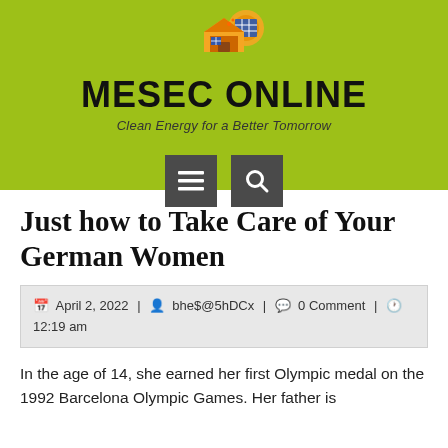[Figure (logo): MESEC ONLINE logo with solar panel house icon, gear, orange and blue colors on lime green background. Tagline: Clean Energy for a Better Tomorrow]
[Figure (screenshot): Two dark grey navigation buttons: hamburger menu icon and search/magnifying glass icon]
Just how to Take Care of Your German Women
April 2, 2022 | bhe$@5hDCx | 0 Comment | 12:19 am
In the age of 14, she earned her first Olympic medal on the 1992 Barcelona Olympic Games. Her father is